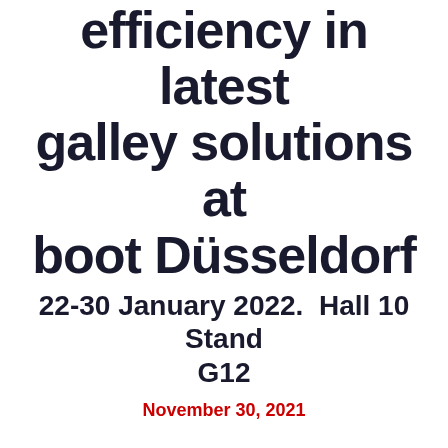efficiency in latest galley solutions at boot Düsseldorf
22-30 January 2022.  Hall 10 Stand G12
November 30, 2021